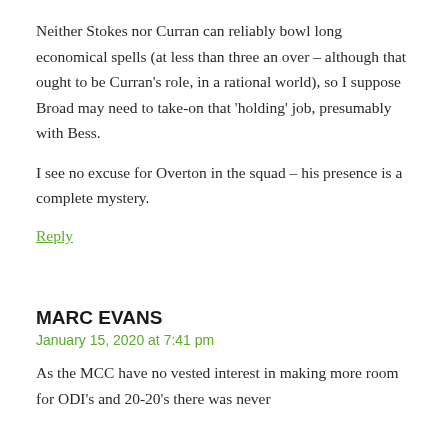Neither Stokes nor Curran can reliably bowl long economical spells (at less than three an over – although that ought to be Curran's role, in a rational world), so I suppose Broad may need to take-on that 'holding' job, presumably with Bess.
I see no excuse for Overton in the squad – his presence is a complete mystery.
Reply
MARC EVANS
January 15, 2020 at 7:41 pm
As the MCC have no vested interest in making more room for ODI's and 20-20's there was never